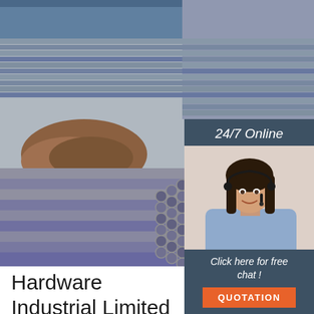[Figure (photo): Photo of stacked steel pipes and round bars in a warehouse/outdoor setting, showing rows of long steel pipes and bundled round steel bars]
[Figure (photo): Inset panel showing woman with headset (customer service representative) with '24/7 Online' header and 'Click here for free chat!' and 'QUOTATION' button]
Products Ever Hardware Industrial Limited
[Figure (logo): TOP logo with orange dots arc above the word TOP in orange letters]